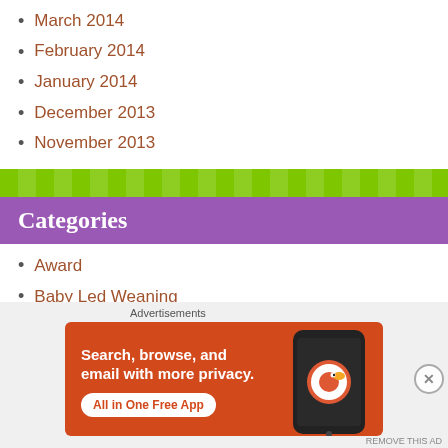March 2014
February 2014
January 2014
December 2013
November 2013
Categories
Award
Baby Led Weaning
Baby Stuff
Birthday Travels
Breast Feeding / Lactation
Christmas 2017
[Figure (screenshot): DuckDuckGo advertisement: Search, browse, and email with more privacy. All in One Free App. Shows DuckDuckGo app on a phone.]